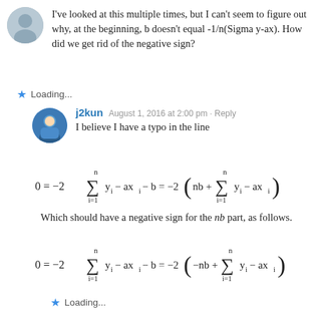I've looked at this multiple times, but I can't seem to figure out why, at the beginning, b doesn't equal -1/n(Sigma y-ax). How did we get rid of the negative sign?
Loading...
j2kun — August 1, 2016 at 2:00 pm · Reply
I believe I have a typo in the line
Which should have a negative sign for the (nb) part, as follows.
Loading...